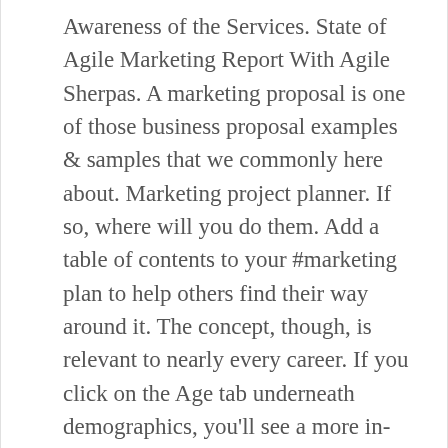Awareness of the Services. State of Agile Marketing Report With Agile Sherpas. A marketing proposal is one of those business proposal examples & samples that we commonly here about. Marketing project planner. If so, where will you do them. Add a table of contents to your #marketing plan to help others find their way around it. The concept, though, is relevant to nearly every career. If you click on the Age tab underneath demographics, you'll see a more in-depth graph. Create powerful social messages that convert. var c = cookie[i]; Now that you know what a digital marketing strategy is and how having a defined strategy can help you achieve your business goals, let's talk about how you can implement this strategy. This depends largely on if your customers are extremely price-sensitive. You may also see, When creating a marketing project plan, you have to